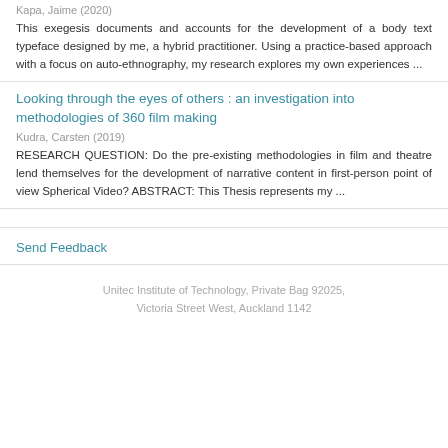Kapa, Jaime (2020)
This exegesis documents and accounts for the development of a body text typeface designed by me, a hybrid practitioner. Using a practice-based approach with a focus on auto-ethnography, my research explores my own experiences ...
Looking through the eyes of others : an investigation into methodologies of 360 film making
Kudra, Carsten (2019)
RESEARCH QUESTION: Do the pre-existing methodologies in film and theatre lend themselves for the development of narrative content in first-person point of view Spherical Video? ABSTRACT: This Thesis represents my ...
Send Feedback
Unitec Institute of Technology, Private Bag 92025, Victoria Street West, Auckland 1142